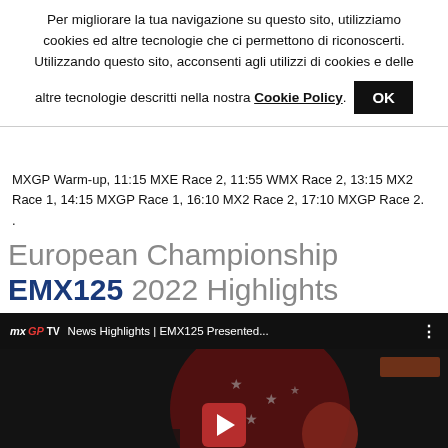Per migliorare la tua navigazione su questo sito, utilizziamo cookies ed altre tecnologie che ci permettono di riconoscerti. Utilizzando questo sito, acconsenti agli utilizzi di cookies e delle altre tecnologie descritti nella nostra Cookie Policy. OK
MXGP Warm-up, 11:15 MXE Race 2, 11:55 WMX Race 2, 13:15 MX2 Race 1, 14:15 MXGP Race 1, 16:10 MX2 Race 2, 17:10 MXGP Race 2.
.
European Championship EMX125 2022 Highlights
[Figure (screenshot): Embedded YouTube video thumbnail showing MXGP TV logo and title 'News Highlights | EMX125 Presented...' with a motocross rider in red gear in the background, dark overlay, and a YouTube play button in the center.]